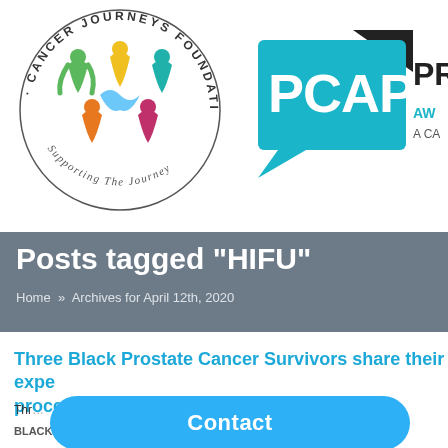[Figure (logo): Cancer Journeys Foundation circular logo with colorful figures and text 'Supporting The Journey']
[Figure (logo): PCAP logo — teal speech bubble with 'PCAP' text and partial text 'PR AW A CA' to the right]
Posts tagged "HIFU"
Home » Archives for April 12th, 2020
Three Black Prostate Cancer Survivors share their experience with the procedure
Thr... with n... BLACK WALL ST TIMES APRIL 12, 2020 By Shelli...
[Figure (other): Blue rounded rectangle Contact button overlay]